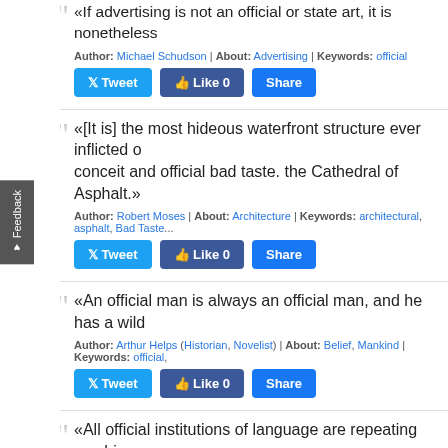«If advertising is not an official or state art, it is nonetheless
Author: Michael Schudson | About: Advertising | Keywords: official
Tweet  Like 0  Share
«[It is] the most hideous waterfront structure ever inflicted o... conceit and official bad taste. the Cathedral of Asphalt.»
Author: Robert Moses | About: Architecture | Keywords: architectural, asphalt, Bad Taste...
Tweet  Like 0  Share
«An official man is always an official man, and he has a wild...
Author: Arthur Helps (Historian, Novelist) | About: Belief, Mankind | Keywords: official,...
Tweet  Like 0  Share
«All official institutions of language are repeating machines: songs, news, all continually repeat the same structure, the s... stereotype is a political fact, the major figure of ideology.»
Author: Roland Barthes (Critic) | Keywords: ideology, machines, official, political ideolog...
songs, repeating, stereotype, stereotyped